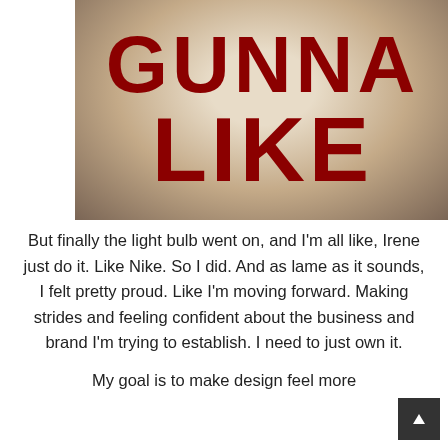[Figure (photo): Cropped photo/graphic showing large bold dark red text on a beige/tan vignette background. The words shown (partially, as the top is cropped) are 'GUNNA' and 'LIKE' in very large Impact-style font.]
But finally the light bulb went on, and I'm all like, Irene just do it. Like Nike. So I did. And as lame as it sounds, I felt pretty proud. Like I'm moving forward. Making strides and feeling confident about the business and brand I'm trying to establish. I need to just own it.
My goal is to make design feel more